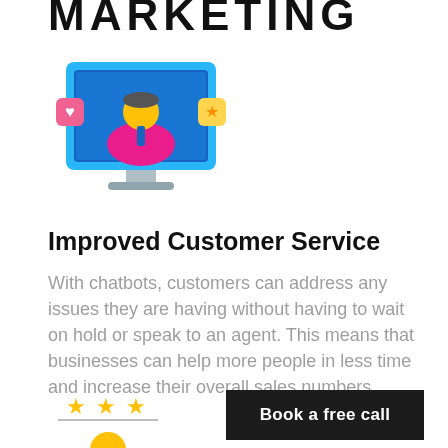MARKETING
[Figure (illustration): Colorful icon of a person on a computer monitor with social media icons (heart and star), representing digital marketing or social media customer service.]
Improved Customer Service
With chatbots, customers can address any issues they are having without having to wait on hold or speak to an agent. This means that businesses can help more people in less time and increase their overall sales numbers.
[Figure (illustration): Colorful icon of a person with star ratings above their head.]
Book a free call